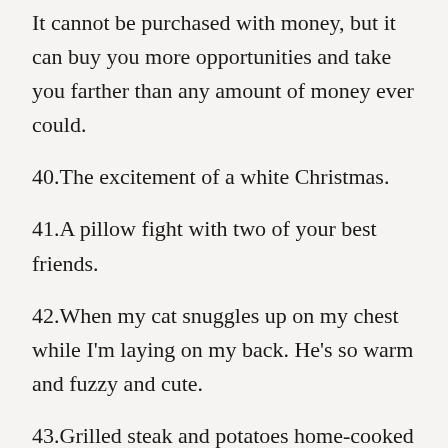It cannot be purchased with money, but it can buy you more opportunities and take you farther than any amount of money ever could.
40.The excitement of a white Christmas.
41.A pillow fight with two of your best friends.
42.When my cat snuggles up on my chest while I'm laying on my back. He's so warm and fuzzy and cute.
43.Grilled steak and potatoes home-cooked for me by my husband on a lazy Friday night after I've had a long week. Nothing beats sitting at home in my pajamas and eating my favorite food, made by the man I love, with the man I love.